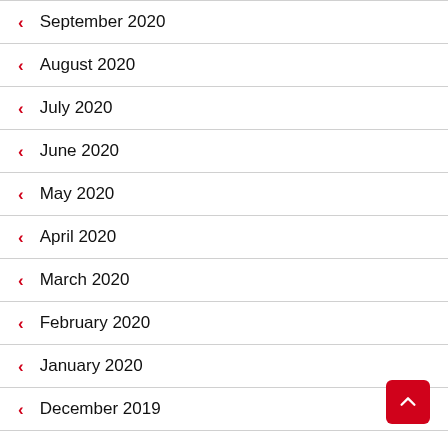< September 2020
< August 2020
< July 2020
< June 2020
< May 2020
< April 2020
< March 2020
< February 2020
< January 2020
< December 2019